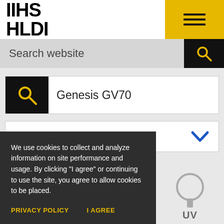IIHS HLDI
Search website
Genesis GV70
2022
We use cookies to collect and analyze information on site performance and usage. By clicking "I agree" or continuing to use the site, you agree to allow cookies to be placed.
PRIVACY POLICY
I AGREE